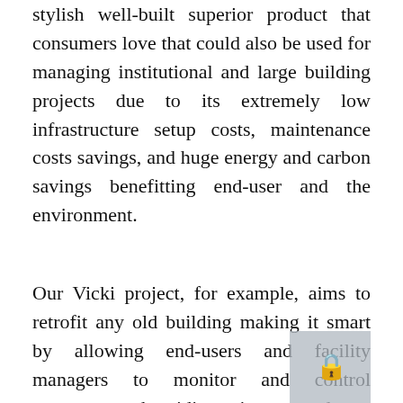stylish well-built superior product that consumers love that could also be used for managing institutional and large building projects due to its extremely low infrastructure setup costs, maintenance costs savings, and huge energy and carbon savings benefitting end-user and the environment.
Our Vicki project, for example, aims to retrofit any old building making it smart by allowing end-users and facility managers to monitor and control temperature, humidity using an end-user app or a simple IoT platform. The solution does not require any alterations to the existing heating system, and there are no building